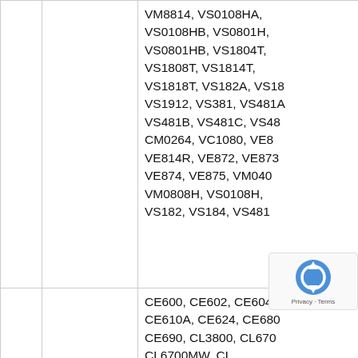|  |  | VM8814, VS0108HA, VS0108HB, VS0801H, VS0801HB, VS1804T, VS1808T, VS1814T, VS1818T, VS182A, VS18…, VS1912, VS381, VS481A, VS481B, VS481C, VS48…, CM0264, VC1080, VE8…, VE814R, VE872, VE873, VE874, VE875, VM040…, VM0808H, VS0108H, VS182, VS184, VS481 |
|  | 3M USB BYI B… | CE600, CE602, CE604, CE610A, CE624, CE680…, CE690, CL3800, CL670…, CL6700MW, CL…, CN8600, CS164…, CS1644A, CS1762A, |